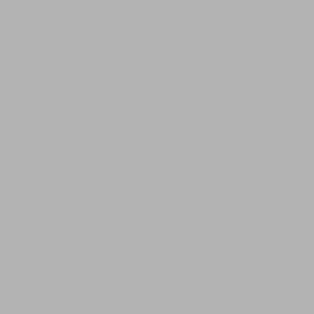[Figure (other): Gray panel on left half of page]
000-0024-685 00 00000250MF6VDC 00 00000265 000002 0000-02871-0100 00 00000290MF3V 0000029L7 00000320MF6.4VDC 000 0000033MF6.3VDC 0000-03661-0000 00000366 00000382 0000-039 000004.7MF50VDC 0000047MF50 00000400MF10VDC 00 0000-04114-0815 000004114 00000-4426 00 0000-04524-0000 0 00000470MF25VDC 00000470MF3 00000470MFD25VD 00000-4755 000004755 00000-4860 000005000.0-OH-.01% 0 00000500MF25VDC 0000 00000500MF6VNP 0000 00000502 00000507 0000 0000-05146-1000 00000 00000-5901 00000 0000060000-OH-.1 00000699 000007000 0000007008101 000 000-00733 00000733 00 00000797 0000-08-000 00000819 00000-8318 0000 00000912 0000-091 00000955 00000956